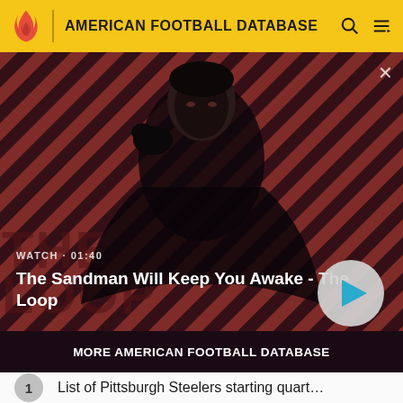AMERICAN FOOTBALL DATABASE
[Figure (screenshot): Video banner showing a dark-themed promotional image for 'The Sandman Will Keep You Awake - The Loop' with a man in black clothing and a raven, on a red and black diagonal stripe background. Shows WATCH · 01:40 label and a play button.]
MORE AMERICAN FOOTBALL DATABASE
1  List of Pittsburgh Steelers starting quart...